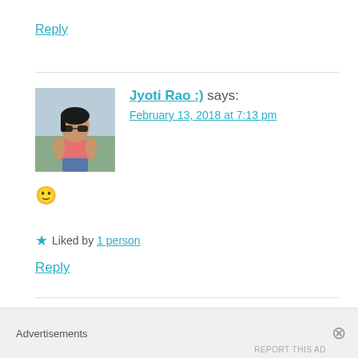Reply
[Figure (photo): Avatar photo of Jyoti Rao, a woman in a pink top seated outdoors]
Jyoti Rao :) says:
February 13, 2018 at 7:13 pm
🙂
★ Liked by 1 person
Reply
[Figure (photo): Partial avatar photo of next commenter dimplesoakbook]
dimplesoakbook says:
Advertisements